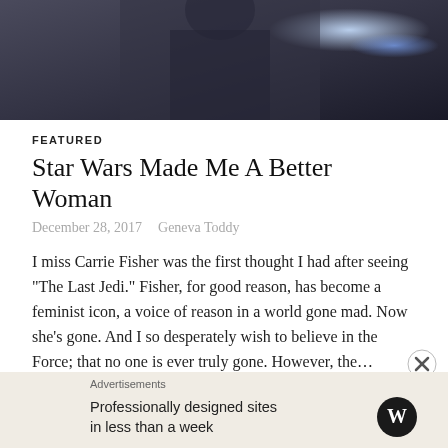[Figure (photo): Dark cinematic photo of a figure in dark robes with glowing light in background — appears to be from Star Wars]
FEATURED
Star Wars Made Me A Better Woman
December 28, 2017   Geneva Toddy
I miss Carrie Fisher was the first thought I had after seeing "The Last Jedi." Fisher, for good reason, has become a feminist icon, a voice of reason in a world gone mad. Now she's gone. And I so desperately wish to believe in the Force; that no one is ever truly gone. However, the…
Continue reading
Advertisements
Professionally designed sites in less than a week